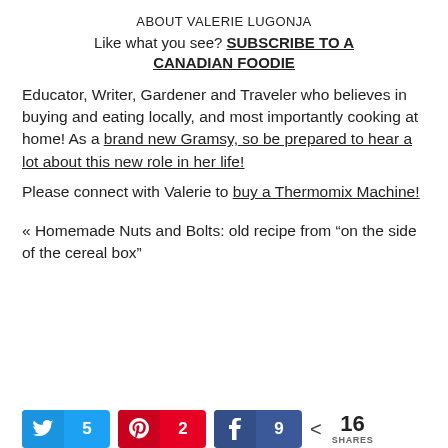ABOUT VALERIE LUGONJA
Like what you see? SUBSCRIBE TO A CANADIAN FOODIE
Educator, Writer, Gardener and Traveler who believes in buying and eating locally, and most importantly cooking at home! As a brand new Gramsy, so be prepared to hear a lot about this new role in her life!
Please connect with Valerie to buy a Thermomix Machine!
« Homemade Nuts and Bolts: old recipe from “on the side of the cereal box”
[Figure (infographic): Social share buttons: Twitter (5 shares), Pinterest (2 shares), Facebook (9 shares), total 16 SHARES]